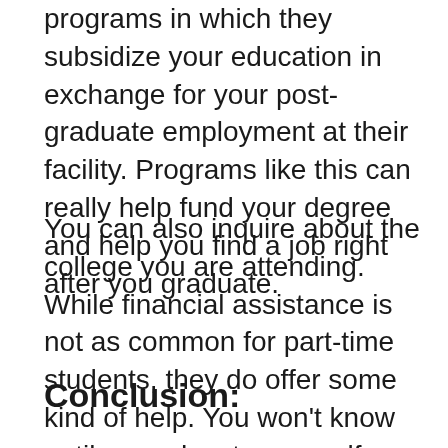programs in which they subsidize your education in exchange for your post-graduate employment at their facility. Programs like this can really help fund your degree and help you find a job right after you graduate.
You can also inquire about the college you are attending. While financial assistance is not as common for part-time students, they do offer some kind of help. You won't know until you educate yourself.
Conclusion: